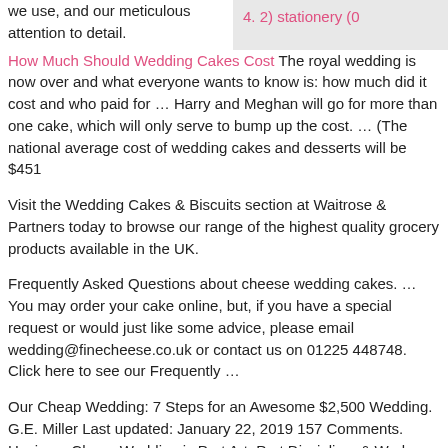we use, and our meticulous attention to detail.
4. 2) stationery (0
How Much Should Wedding Cakes Cost The royal wedding is now over and what everyone wants to know is: how much did it cost and who paid for … Harry and Meghan will go for more than one cake, which will only serve to bump up the cost. … (The national average cost of wedding cakes and desserts will be $451
Visit the Wedding Cakes & Biscuits section at Waitrose & Partners today to browse our range of the highest quality grocery products available in the UK.
Frequently Asked Questions about cheese wedding cakes. … You may order your cake online, but, if you have a special request or would just like some advice, please email wedding@finecheese.co.uk or contact us on 01225 448748. Click here to see our Frequently …
Our Cheap Wedding: 7 Steps for an Awesome $2,500 Wedding. G.E. Miller Last updated: January 22, 2019 157 Comments. Having a Cheap Wedding is Part Art, Part Discipline, & Work. … We bought two awesome ice cream cakes from ColdStone) Clothing: Flowers: $100; GE Outfit: $150; Wife Outfit: $100 (my wife wore her mother's wedding dress. It …